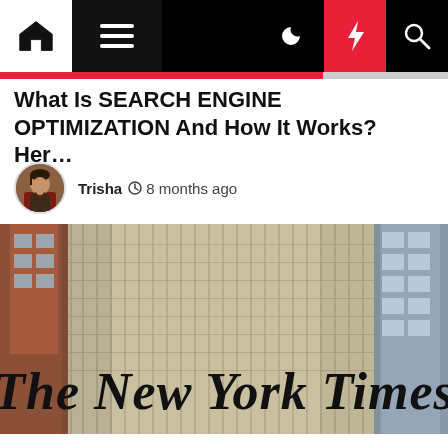Navigation bar with home, menu, dark mode, flash, and search icons
What Is SEARCH ENGINE OPTIMIZATION And How It Works? Her…
Trisha  8 months ago
[Figure (photo): Photo of The New York Times building facade showing the newspaper's name in large blackletter font on the exterior wall, viewed from a low angle against a blue sky with surrounding buildings visible.]